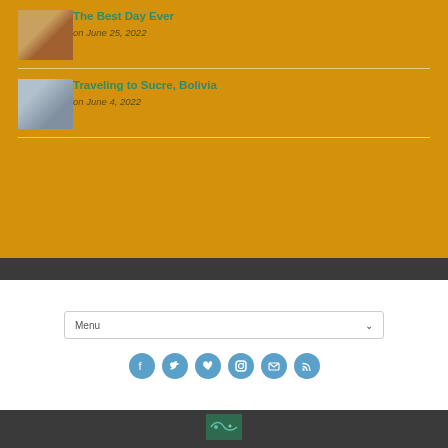The Best Day Ever — on June 25, 2022
Traveling to Sucre, Bolivia — on June 4, 2022
Menu
[Figure (infographic): Row of 6 circular social media icons: Facebook, Twitter, Vimeo, Instagram, Email, RSS — all in steel blue on white background]
[Figure (logo): Small green and teal map logo at bottom center on dark footer]